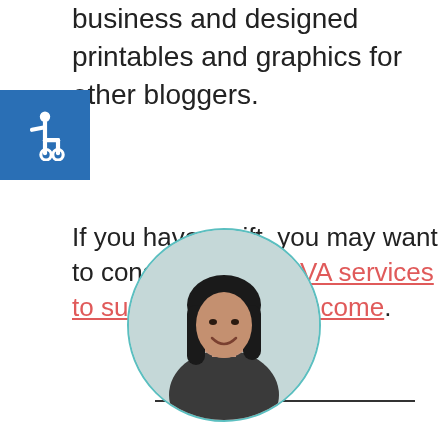business and designed printables and graphics for other bloggers.
[Figure (illustration): Accessibility icon — wheelchair symbol in white on blue square background]
If you have a gift, you may want to consider offering VA services to supplement your income.
[Figure (photo): Circular framed portrait photo of a woman with dark hair smiling, with a teal banner below reading 'Hi! I'm Monique' and subtitle 'Homeschooling mother to 3']